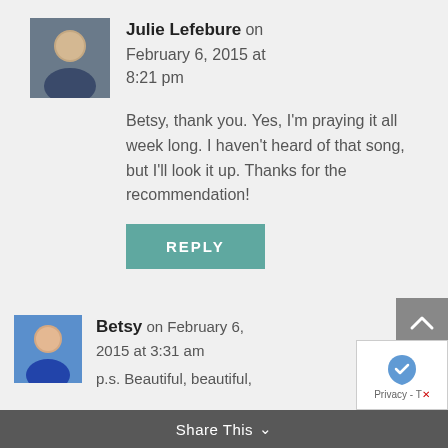Julie Lefebure on February 6, 2015 at 8:21 pm
Betsy, thank you. Yes, I'm praying it all week long. I haven't heard of that song, but I'll look it up. Thanks for the recommendation!
REPLY
Betsy on February 6, 2015 at 3:31 am
p.s. Beautiful, beautiful,
Share This